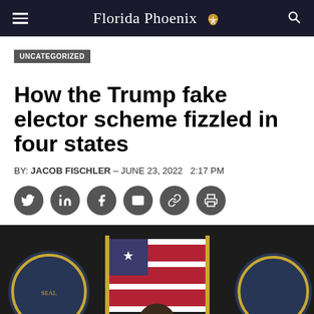Florida Phoenix
UNCATEGORIZED
How the Trump fake elector scheme fizzled in four states
BY: JACOB FISCHLER – JUNE 23, 2022  2:17 PM
[Figure (photo): Social media sharing icons: Twitter, LinkedIn, Facebook, Email, Link, Print]
[Figure (photo): Photo of a man in a suit and glasses seated at a hearing table, with American flags and official seals in the background]